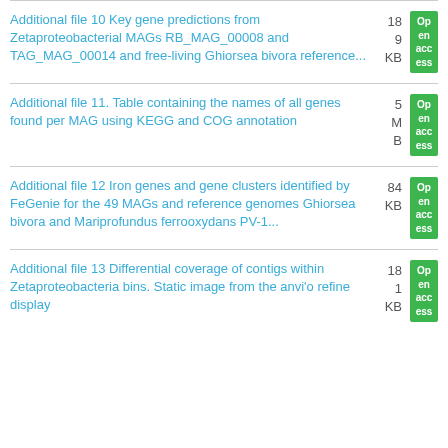Additional file 10 Key gene predictions from Zetaproteobacterial MAGs RB_MAG_00008 and TAG_MAG_00014 and free-living Ghiorsea bivora reference...
Additional file 11. Table containing the names of all genes found per MAG using KEGG and COG annotation
Additional file 12 Iron genes and gene clusters identified by FeGenie for the 49 MAGs and reference genomes Ghiorsea bivora and Mariprofundus ferrooxydans PV-1...
Additional file 13 Differential coverage of contigs within Zetaproteobacteria bins. Static image from the anvi'o refine display